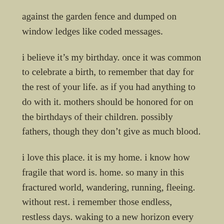against the garden fence and dumped on window ledges like coded messages.
i believe it's my birthday. once it was common to celebrate a birth, to remember that day for the rest of your life. as if you had anything to do with it. mothers should be honored for on the birthdays of their children. possibly fathers, though they don't give as much blood.
i love this place. it is my home. i know how fragile that word is. home. so many in this fractured world, wandering, running, fleeing. without rest. i remember those endless, restless days. waking to a new horizon every sunrise. and walking, leaving that horizon far behind before sunset. the shifting alliances, the constant